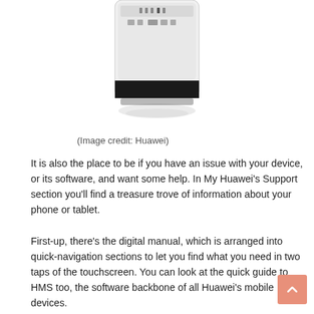[Figure (photo): Partial top view of a Huawei mobile device showing status bar and camera area]
(Image credit: Huawei)
It is also the place to be if you have an issue with your device, or its software, and want some help. In My Huawei’s Support section you’ll find a treasure trove of information about your phone or tablet.
First-up, there’s the digital manual, which is arranged into quick-navigation sections to let you find what you need in two taps of the touchscreen. You can look at the quick guide to HMS too, the software backbone of all Huawei’s mobile devices.